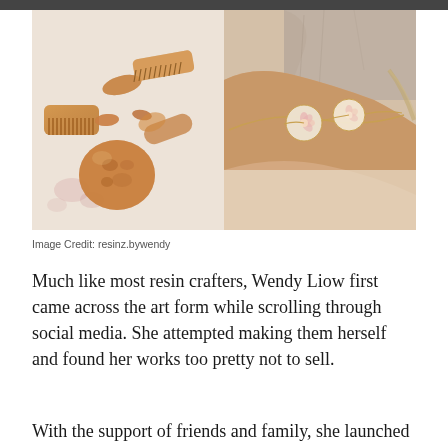[Figure (photo): Two side-by-side photos: left photo shows resin crafts including combs, clips, and a round object with golden/amber resin on white floral fabric; right photo shows a wrist wearing delicate gold bracelets with round resin pendants containing dried flowers, with a stone and rope in the background.]
Image Credit: resinz.bywendy
Much like most resin crafters, Wendy Liow first came across the art form while scrolling through social media. She attempted making them herself and found her works too pretty not to sell.
With the support of friends and family, she launched